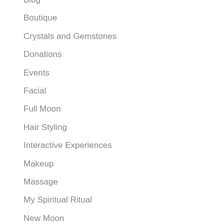Blog
Boutique
Crystals and Gemstones
Donations
Events
Facial
Full Moon
Hair Styling
Interactive Experiences
Makeup
Massage
My Spiritual Ritual
New Moon
Rituals